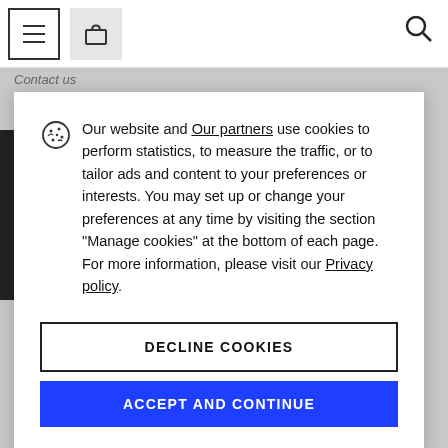Contact us
Our website and Our partners use cookies to perform statistics, to measure the traffic, or to tailor ads and content to your preferences or interests. You may set up or change your preferences at any time by visiting the section "Manage cookies" at the bottom of each page. For more information, please visit our Privacy policy.
DECLINE COOKIES
ACCEPT AND CONTINUE